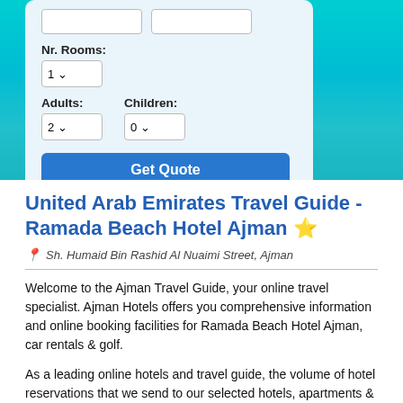[Figure (screenshot): Hotel booking form UI with teal/turquoise beach background. Shows Nr. Rooms dropdown (1), Adults dropdown (2), Children dropdown (0), and a blue Get Quote button.]
United Arab Emirates Travel Guide - Ramada Beach Hotel Ajman ⭐
Sh. Humaid Bin Rashid Al Nuaimi Street, Ajman
Welcome to the Ajman Travel Guide, your online travel specialist. Ajman Hotels offers you comprehensive information and online booking facilities for Ramada Beach Hotel Ajman, car rentals & golf.
As a leading online hotels and travel guide, the volume of hotel reservations that we send to our selected hotels, apartments & resorts in Ajman means that we have